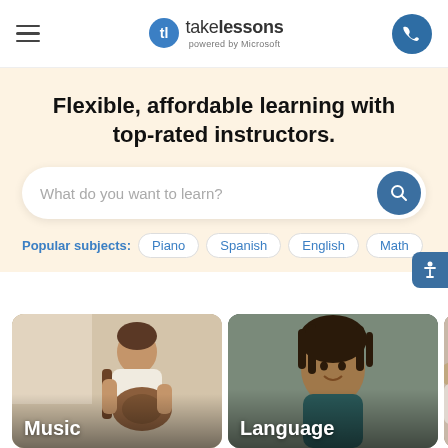takelessons powered by Microsoft
Flexible, affordable learning with top-rated instructors.
What do you want to learn?
Popular subjects: Piano  Spanish  English  Math
[Figure (photo): Man sitting and playing acoustic guitar, smiling, white t-shirt, card labeled Music]
[Figure (photo): Young person smiling at camera, teal sweater, card labeled Language]
[Figure (photo): Partially visible third card, cut off on right side, labeled A...]